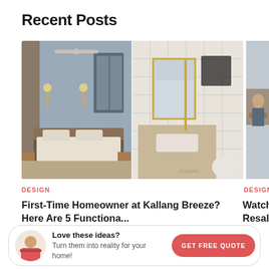Recent Posts
[Figure (photo): Two interior design images side by side: left showing a modern bedroom with ceiling fan and warm lighting, right showing a modern white tiled bathroom with gold fixtures, arched mirror and freestanding tub]
[Figure (photo): Partial image on right side showing a person sitting at a desk working on a laptop in a home office setting]
DESIGN
First-Time Homeowner at Kallang Breeze? Here Are 5 Functiona...
DESIGN
Watch: How Livs Resale Flat Into
Popular Categories
Love these ideas?
Turn them into reality for your home!
GET FREE QUOTE